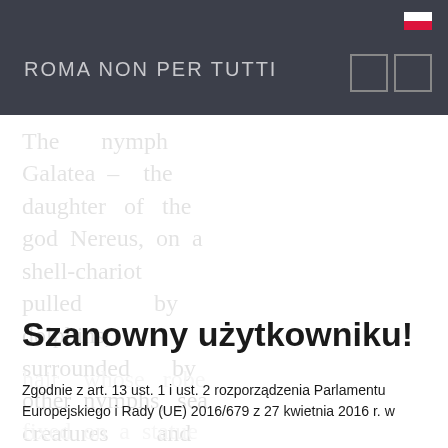ROMA NON PER TUTTI
The nymph Galatea – the daughter of the god Nereus, on a shell-chariot pulled by dolphins, surrounded by other nymphs, sea creatures and cupids, firing arrows at a beautiful woman
Szanowny użytkowniku!
Zgodnie z art. 13 ust. 1 i ust. 2 rozporządzenia Parlamentu Europejskiego i Rady (UE) 2016/679 z 27 kwietnia 2016 r. w
hair whose robe fixed on a statue